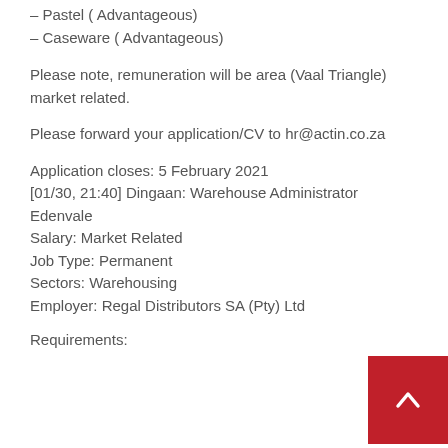– Pastel ( Advantageous)
– Caseware ( Advantageous)
Please note, remuneration will be area (Vaal Triangle) market related.
Please forward your application/CV to hr@actin.co.za
Application closes: 5 February 2021
[01/30, 21:40] Dingaan: Warehouse Administrator Edenvale
Salary: Market Related
Job Type: Permanent
Sectors: Warehousing
Employer: Regal Distributors SA (Pty) Ltd
Requirements: